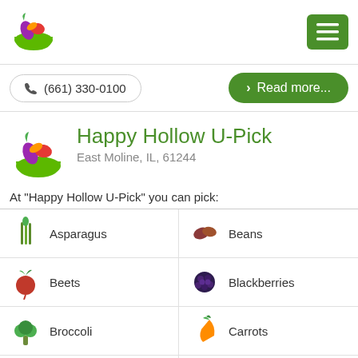[Figure (logo): Fruits and vegetables in a green bowl logo]
[Figure (other): Green hamburger menu button]
(661) 330-0100
Read more...
[Figure (logo): Fruits and vegetables in a green bowl logo (large)]
Happy Hollow U-Pick
East Moline, IL, 61244
At "Happy Hollow U-Pick" you can pick:
Asparagus
Beans
Beets
Blackberries
Broccoli
Carrots
Corn
Cucumbers